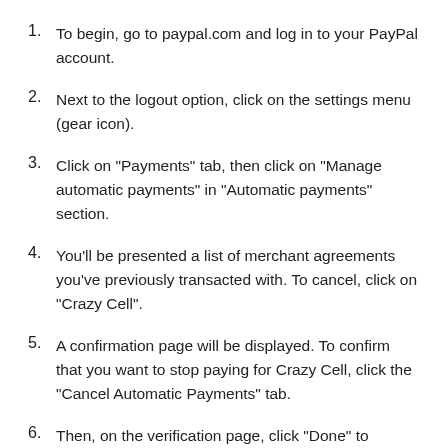To begin, go to paypal.com and log in to your PayPal account.
Next to the logout option, click on the settings menu (gear icon).
Click on "Payments" tab, then click on "Manage automatic payments" in "Automatic payments" section.
You'll be presented a list of merchant agreements you've previously transacted with. To cancel, click on "Crazy Cell".
A confirmation page will be displayed. To confirm that you want to stop paying for Crazy Cell, click the "Cancel Automatic Payments" tab.
Then, on the verification page, click "Done" to complete